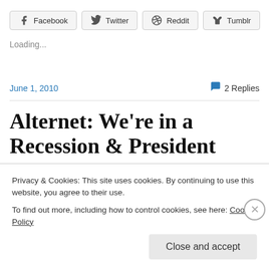[Figure (screenshot): Social share buttons row: Facebook, Twitter, Reddit, Tumblr]
Loading...
June 1, 2010
2 Replies
Alternet: We're in a Recession & President Obama is Putting
Privacy & Cookies: This site uses cookies. By continuing to use this website, you agree to their use. To find out more, including how to control cookies, see here: Cookie Policy
Close and accept